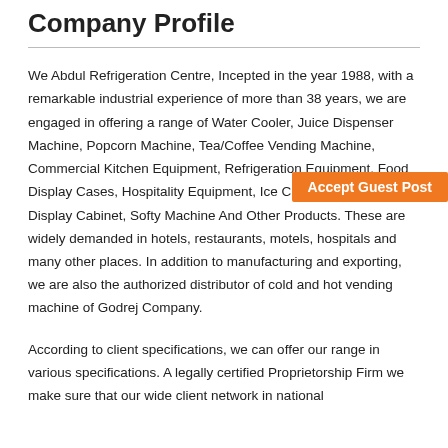Company Profile
We Abdul Refrigeration Centre, Incepted in the year 1988, with a remarkable industrial experience of more than 38 years, we are engaged in offering a range of Water Cooler, Juice Dispenser Machine, Popcorn Machine, Tea/Coffee Vending Machine, Commercial Kitchen Equipment, Refrigeration Equipment, Food Display Cases, Hospitality Equipment, Ice Cream Machines, Display Cabinet, Softy Machine And Other Products. These are widely demanded in hotels, restaurants, motels, hospitals and many other places. In addition to manufacturing and exporting, we are also the authorized distributor of cold and hot vending machine of Godrej Company.
According to client specifications, we can offer our range in various specifications. A legally certified Proprietorship Firm we make sure that our wide client network in national